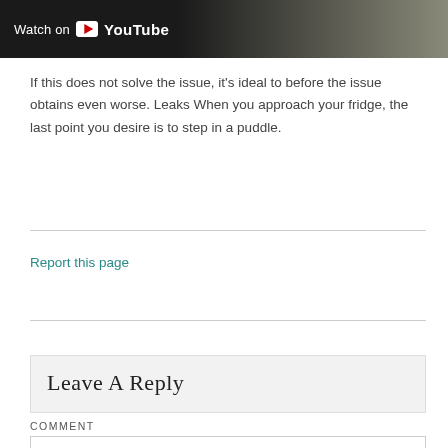[Figure (screenshot): Video banner showing 'Watch on YouTube' button with YouTube play icon, dark background on left and light blurred image on right]
If this does not solve the issue, it's ideal to before the issue obtains even worse. Leaks When you approach your fridge, the last point you desire is to step in a puddle.
Report this page
Leave A Reply
COMMENT